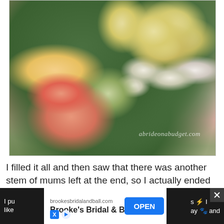[Figure (photo): A close-up photo of a wedding flower bouquet with peach/pink roses, yellow button mums, baby's breath, and green foliage. A watermark reads 'abrideоnabudget.com' in cursive script at the bottom right.]
I filled it all and then saw that there was another stem of mums left at the end, so I actually ended up taking the entire thing apart and starting over. The second time was a lot easier. I made sure to keep everything symmetric, matching the roses on either side.
[Figure (screenshot): An advertisement bar at the bottom of the page. Dark background on sides with partial text visible. White center area shows: 'brookesbridalandball.com' and 'Brooke's Bridal & Ball' with social media icons (X and arrow). A blue 'OPEN' button on the right. A close/X button in the top right corner.]